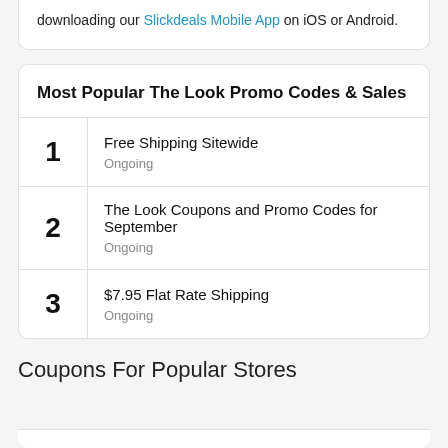downloading our Slickdeals Mobile App on iOS or Android.
| # | Deal |
| --- | --- |
| 1 | Free Shipping Sitewide
Ongoing |
| 2 | The Look Coupons and Promo Codes for September
Ongoing |
| 3 | $7.95 Flat Rate Shipping
Ongoing |
Coupons For Popular Stores